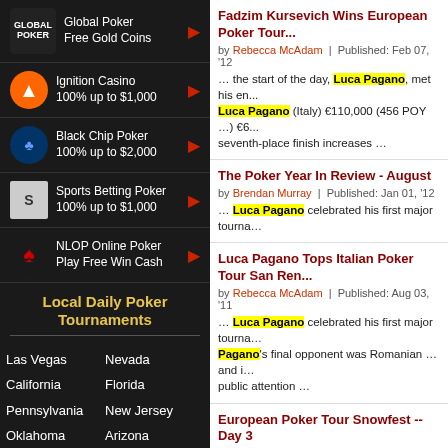Global Poker Free Gold Coins
Ignition Casino 100% up to $1,000
Black Chip Poker 100% up to $2,000
Sports Betting Poker 100% up to $1,000
NLOP Online Poker Play Free Win Cash
Local Daily Poker Tournaments
Las Vegas  Nevada
California  Florida
Pennsylvania  New Jersey
Oklahoma  Arizona
Ohio  Mississippi
View All
Fadzim Kursevich Wins European Poker Tour...
by Rebecca McAdam | Published: Feb 07, '12 ... the start of the day, Luca Pagano, met his en... Luca Pagano (Italy) €110,000 (456 POY ...) €6... seventh-place finish increases ...
The Poker Year In Review - August
by Brendan Murray | Published: Jan 01, '12 ... Luca Pagano celebrated his first major tourna...
Luca Pagano Tops Italian Poker Tour San Ren...
by Rebecca McAdam | Published: Aug 03, '11 ... Luca Pagano celebrated his first major tourna... Pagano's final opponent was Romanian ... and i... public attention ...
European Poker Tour Snowfest -- Day 3
by Rebecca McAdam | Published: Mar 24, '11 ... for her fellow team-mate Luca Pagano with th... Bertrand "ElkY" Grospellier. Pagano bet 15,000 t... moved all in. Pagano thought about it and ... eve... improve. Pagano can celebrate ...
More News Res...
Magazine Article Results